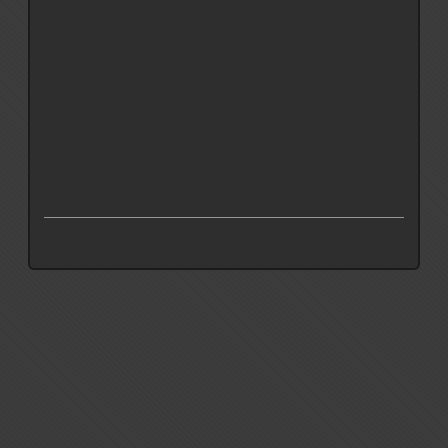[Figure (screenshot): Dark card/panel at the top of the page with a horizontal white divider line near the bottom of the card]
BACK TO TOP ^
Login | Terms of Use | Disclaimer | Acknowledgement
Copyright © 2010-2022 www.allabouthh.org
All rights reserved